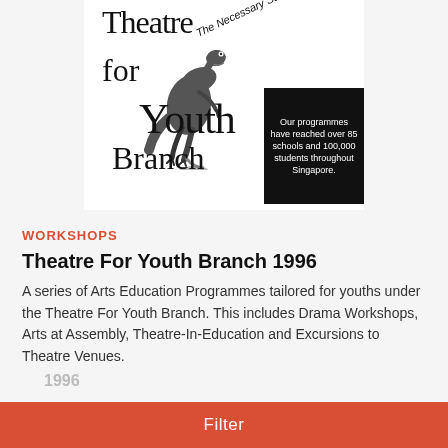[Figure (illustration): Poster for 'Theatre for Youth Branch' by The Necessary Stage, featuring a dinosaur puppet/prop, large typography spelling out 'Theatre for Youth Branch', a diagonal italic text 'The Necessary Stage', and a black box with text 'Our programmes have reached over 85 schools and 100,000 students throughout Singapore.']
WORKSHOPS
Theatre For Youth Branch 1996
A series of Arts Education Programmes tailored for youths under the Theatre For Youth Branch. This includes Drama Workshops, Arts at Assembly, Theatre-In-Education and Excursions to Theatre Venues.
Filter